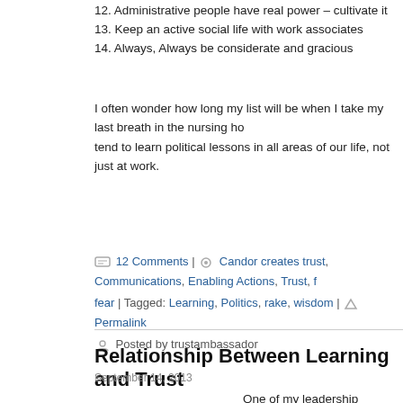12. Administrative people have real power – cultivate it
13. Keep an active social life with work associates
14. Always, Always be considerate and gracious
I often wonder how long my list will be when I take my last breath in the nursing ho... tend to learn political lessons in all areas of our life, not just at work.
12 Comments | Candor creates trust, Communications, Enabling Actions, Trust, fear | Tagged: Learning, Politics, rake, wisdom | Permalink
Posted by trustambassador
Relationship Between Learning and Trust
September 14, 2013
One of my leadership students asked m... question. She wanted to know the relati... between trust and learning. On the surf... two words seem to have a tenuous rela... at best. However, after thinking about i... question became much more interesting...
The analysis can go in many directions... brief article, I will describe three differ... perspectives and offer a few typical ex... illustrate them. The perspectives inclu...